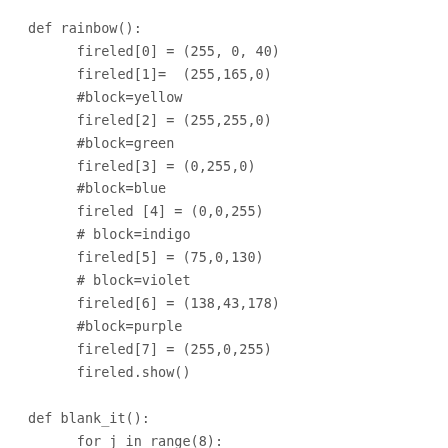def rainbow():
    fireled[0] = (255, 0, 40)
    fireled[1]=  (255,165,0)
    #block=yellow
    fireled[2] = (255,255,0)
    #block=green
    fireled[3] = (0,255,0)
    #block=blue
    fireled [4] = (0,0,255)
    # block=indigo
    fireled[5] = (75,0,130)
    # block=violet
    fireled[6] = (138,43,178)
    #block=purple
    fireled[7] = (255,0,255)
    fireled.show()

def blank_it():
    for j in range(8):
        fireled[j] = (63, 0, 0)
    fireled.show()